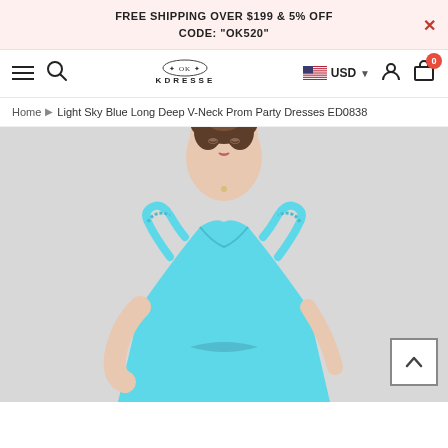FREE SHIPPING OVER $199 & 5% OFF CODE: "OK520"
[Figure (logo): OKDresses logo with emblem and brand name OKDRESSES]
Home > Light Sky Blue Long Deep V-Neck Prom Party Dresses ED0838
[Figure (photo): Model wearing a light sky blue off-shoulder deep V-neck prom party dress, upper body shown against a light gray background]